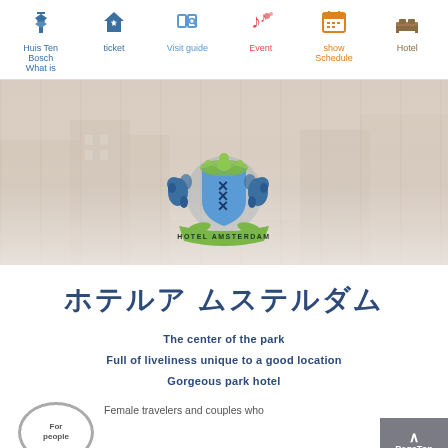Huis Ten Bosch What is | ticket | Visit guide | Event | show Schedule | Hotel
[Figure (photo): Hero banner showing a blurred outdoor park/street scene with a Hotel Amsterdam coat of arms emblem (blue lions, green shield with XXX, golden banner reading HOTEL AMSTERDAM) overlaid at the bottom center.]
ホテルアムステルダム
The center of the park
Full of liveliness unique to a good location
Gorgeous park hotel
For people  Female travelers and couples who
[Figure (illustration): Circular badge/icon with border, partially visible at bottom left, containing text 'For people']